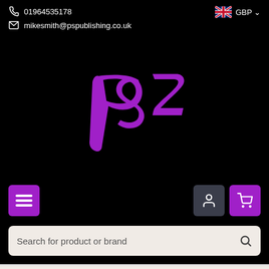01964535178
mikesmith@pspublishing.co.uk
GBP
[Figure (logo): PS2 stylized purple logo on black background]
Navigation bar with menu, user, and cart buttons
Search for product or brand
Home / LEGACY TITLES